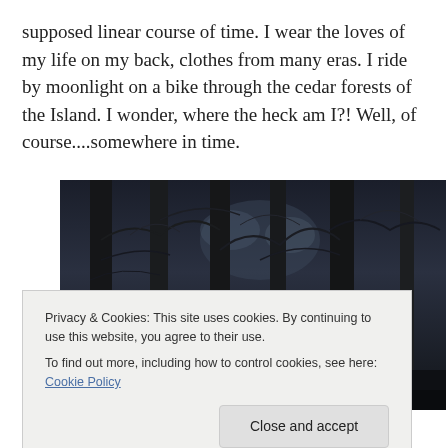supposed linear course of time. I wear the loves of my life on my back, clothes from many eras. I ride by moonlight on a bike through the cedar forests of the Island. I wonder, where the heck am I?! Well, of course....somewhere in time.
[Figure (photo): Dark moody photograph of cedar forest at night, trees with branches visible against a dimly lit sky, deep blue-black tones]
Privacy & Cookies: This site uses cookies. By continuing to use this website, you agree to their use.
To find out more, including how to control cookies, see here: Cookie Policy